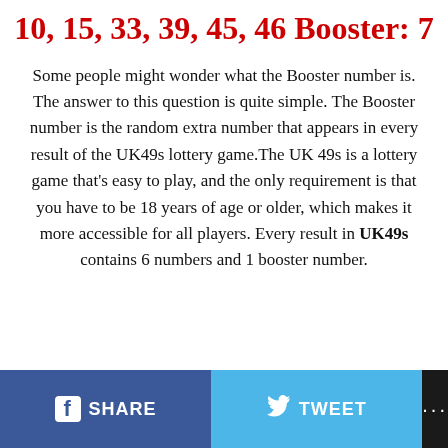10, 15, 33, 39, 45, 46 Booster: 7
Some people might wonder what the Booster number is. The answer to this question is quite simple. The Booster number is the random extra number that appears in every result of the UK49s lottery game.The UK 49s is a lottery game that’s easy to play, and the only requirement is that you have to be 18 years of age or older, which makes it more accessible for all players. Every result in UK49s contains 6 numbers and 1 booster number.
SHARE   TWEET   ...